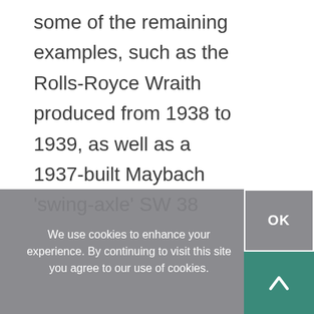some of the remaining examples, such as the Rolls-Royce Wraith produced from 1938 to 1939, as well as a 1937-built Maybach 'swing-axle' SW 38 Cabriolet and a 1929 Mercedes-Benz 630 K. There are also 22 rare automobiles illustrating the famous French car brands: Bugatti, Delage, Delahaye, Talbot, Salmson, Voisin, Hispano-Suiza, Hotchkiss, Lorraine-Dietrich, Panhard et Levassor and Facel-Vega. The exhibits include a blue-on-blue
We use cookies to enhance your experience. By continuing to visit this site you agree to our use of cookies.